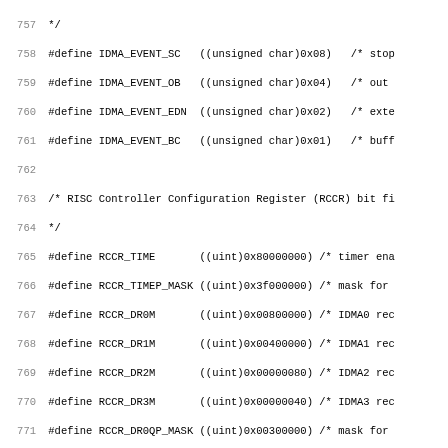Source code listing showing IDMA event and RCCR register bit field #define macros, lines 757-788+
757  */
758  #define IDMA_EVENT_SC     ((unsigned char)0x08)   /* stop
759  #define IDMA_EVENT_OB     ((unsigned char)0x04)   /* out
760  #define IDMA_EVENT_EDN    ((unsigned char)0x02)   /* exte
761  #define IDMA_EVENT_BC     ((unsigned char)0x01)   /* buff
762
763  /* RISC Controller Configuration Register (RCCR) bit fi
764  */
765  #define RCCR_TIME         ((uint)0x80000000) /* timer ena
766  #define RCCR_TIMEP_MASK   ((uint)0x3f000000) /* mask for
767  #define RCCR_DR0M         ((uint)0x00800000) /* IDMA0 rec
768  #define RCCR_DR1M         ((uint)0x00400000) /* IDMA1 rec
769  #define RCCR_DR2M         ((uint)0x00000080) /* IDMA2 rec
770  #define RCCR_DR3M         ((uint)0x00000040) /* IDMA3 rec
771  #define RCCR_DR0QP_MASK   ((uint)0x00300000) /* mask for
772  #define RCCR_DR0QP_HIGH   ((uint)0x00000000) /* IDMA0 has
773  #define RCCR_DR0QP_MED    ((uint)0x00100000) /* IDMA0 has
774  #define RCCR_DR0QP_LOW    ((uint)0x00200000) /* IDMA0 has
775  #define RCCR_DR1QP_MASK   ((uint)0x00030000) /* mask for
776  #define RCCR_DR1QP_HIGH   ((uint)0x00000000) /* IDMA1 has
777  #define RCCR_DR1QP_MED    ((uint)0x00010000) /* IDMA1 has
778  #define RCCR_DR1QP_LOW    ((uint)0x00020000) /* IDMA1 has
779  #define RCCR_DR2QP_MASK   ((uint)0x00000030) /* mask for
780  #define RCCR_DR2QP_HIGH   ((uint)0x00000000) /* IDMA2 has
781  #define RCCR_DR2QP_MED    ((uint)0x00000010) /* IDMA2 has
782  #define RCCR_DR2QP_LOW    ((uint)0x00000020) /* IDMA2 has
783  #define RCCR_DR3QP_MASK   ((uint)0x00000003) /* mask for
784  #define RCCR_DR3QP_HIGH   ((uint)0x00000000) /* IDMA3 has
785  #define RCCR_DR3QP_MED    ((uint)0x00000001) /* IDMA3 has
786  #define RCCR_DR3QP_LOW    ((uint)0x00000002) /* IDMA3 has
787  #define RCCR_EIE          ((uint)0x00080000) /* external
788  #define RCCR_SCD          ((uint)0x00040000) /* scheduler
789  #define RCCR_ERAM_MASK    ((uint)0x0000 000) /* ...